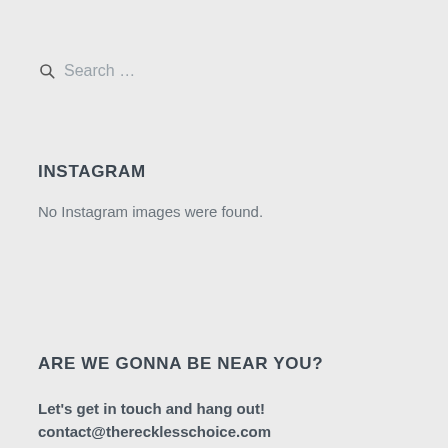Search …
INSTAGRAM
No Instagram images were found.
ARE WE GONNA BE NEAR YOU?
Let's get in touch and hang out!
contact@therecklesschoice.com